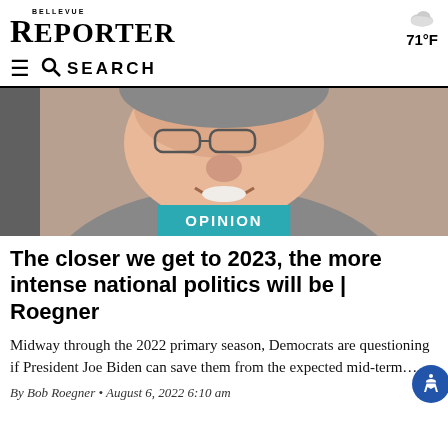BELLEVUE REPORTER 71°F
SEARCH
[Figure (photo): Close-up photo of an older man smiling, wearing glasses and a grey suit with a striped tie, with an OPINION badge overlay]
The closer we get to 2023, the more intense national politics will be | Roegner
Midway through the 2022 primary season, Democrats are questioning if President Joe Biden can save them from the expected mid-term…
By Bob Roegner • August 6, 2022 6:10 am